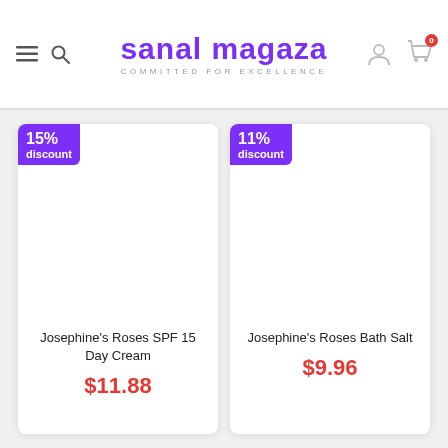sanal magaza — COMMITTED FOR EXCELLENCE
[Figure (screenshot): Product card: Josephine's Roses SPF 15 Day Cream, 15% discount badge, $11.88]
[Figure (screenshot): Product card: Josephine's Roses Bath Salt, 11% discount badge, $9.96]